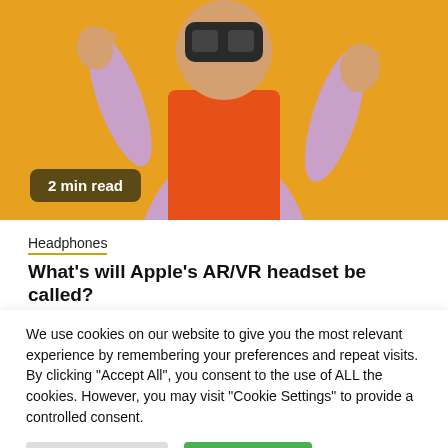[Figure (photo): Person wearing VR/AR headset and colorful outfit (orange vest over lavender long sleeves) with hands raised, on orange background]
2 min read
Headphones
What's will Apple's AR/VR headset be called?
We use cookies on our website to give you the most relevant experience by remembering your preferences and repeat visits. By clicking "Accept All", you consent to the use of ALL the cookies. However, you may visit "Cookie Settings" to provide a controlled consent.
Cookie Settings  Accept All